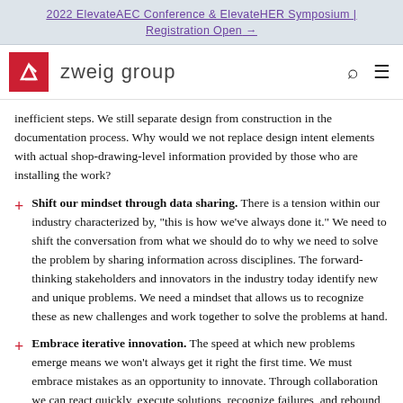2022 ElevateAEC Conference & ElevateHER Symposium | Registration Open →
[Figure (logo): Zweig Group logo: red square with white checkmark/arrow icon, followed by 'zweig group' in light grey sans-serif, with search and menu icons on the right]
inefficient steps. We still separate design from construction in the documentation process. Why would we not replace design intent elements with actual shop-drawing-level information provided by those who are installing the work?
Shift our mindset through data sharing. There is a tension within our industry characterized by, "this is how we've always done it." We need to shift the conversation from what we should do to why we need to solve the problem by sharing information across disciplines. The forward-thinking stakeholders and innovators in the industry today identify new and unique problems. We need a mindset that allows us to recognize these as new challenges and work together to solve the problems at hand.
Embrace iterative innovation. The speed at which new problems emerge means we won't always get it right the first time. We must embrace mistakes as an opportunity to innovate. Through collaboration we can react quickly, execute solutions, recognize failures, and rebound, leveraging lessons learned to...